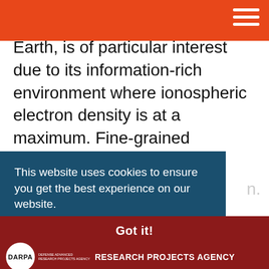DARPA website header with orange background and hamburger menu
Earth, is of particular interest due to its information-rich environment where ionospheric electron density is at a maximum. Fine-grained knowledge of the spatial-temporal characteristics of electron density at these altitudes is required for accurate HF propagation prediction."
This website uses cookies to ensure you get the best experience on our website. Learn More
Got it!
DARPA DEFENSE ADVANCED RESEARCH PROJECTS AGENCY